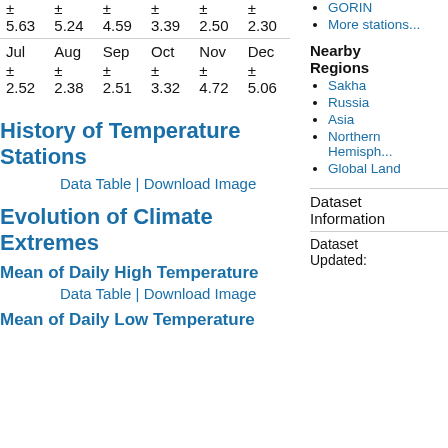| Jul | Aug | Sep | Oct | Nov | Dec |
| --- | --- | --- | --- | --- | --- |
| ± 5.63 | ± 5.24 | ± 4.59 | ± 3.39 | ± 2.50 | ± 2.30 |
| Jul | Aug | Sep | Oct | Nov | Dec |
| ± 2.52 | ± 2.38 | ± 2.51 | ± 3.32 | ± 4.72 | ± 5.06 |
GORIN
More stations...
History of Temperature Stations
Data Table | Download Image
Nearby Regions
Sakha
Russia
Asia
Northern Hemisphere
Global Land
Evolution of Climate Extremes
Mean of Daily High Temperature
Data Table | Download Image
Dataset Information
Dataset Updated:
Mean of Daily Low Temperature